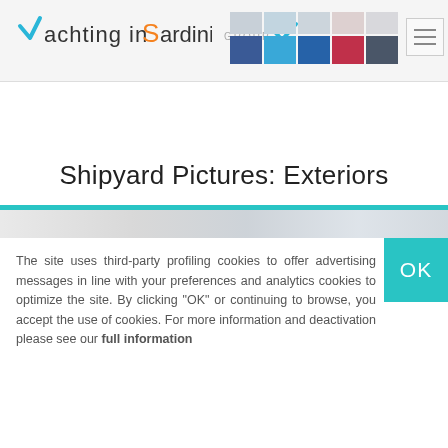Yachting in Sardinia
Shipyard Pictures: Exteriors
The site uses third-party profiling cookies to offer advertising messages in line with your preferences and analytics cookies to optimize the site. By clicking "OK" or continuing to browse, you accept the use of cookies. For more information and deactivation please see our full information